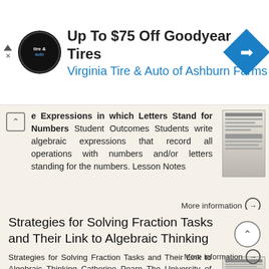[Figure (other): Advertisement banner: Up To $75 Off Goodyear Tires - Virginia Tire & Auto of Ashburn Farms with logo and navigation arrow icon]
e Expressions in which Letters Stand for Numbers Student Outcomes Students write algebraic expressions that record all operations with numbers and/or letters standing for the numbers. Lesson Notes
More information →
Strategies for Solving Fraction Tasks and Their Link to Algebraic Thinking
Strategies for Solving Fraction Tasks and Their Link to Algebraic Thinking Catherine Pearn The University of Melbourne Max Stephens The University of Melbourne
More information →